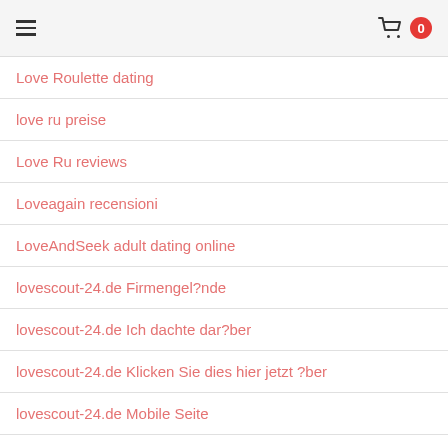≡  🛒 0
Love Roulette dating
love ru preise
Love Ru reviews
Loveagain recensioni
LoveAndSeek adult dating online
lovescout-24.de Firmengel?nde
lovescout-24.de Ich dachte dar?ber
lovescout-24.de Klicken Sie dies hier jetzt ?ber
lovescout-24.de Mobile Seite
lovescout247.de gute Seite